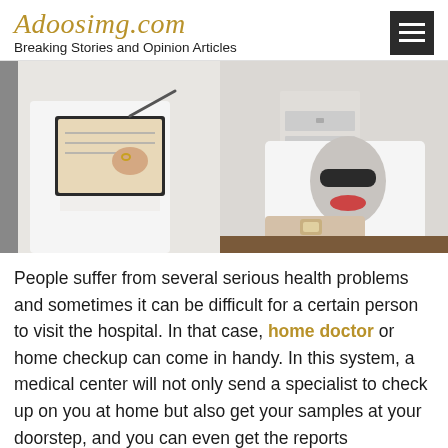Adoosimg.com — Breaking Stories and Opinion Articles
[Figure (photo): A doctor in a white coat writing on a clipboard while a patient in a graphic t-shirt sits on an examination table in a medical office.]
People suffer from several serious health problems and sometimes it can be difficult for a certain person to visit the hospital. In that case, home doctor or home checkup can come in handy. In this system, a medical center will not only send a specialist to check up on you at home but also get your samples at your doorstep, and you can even get the reports